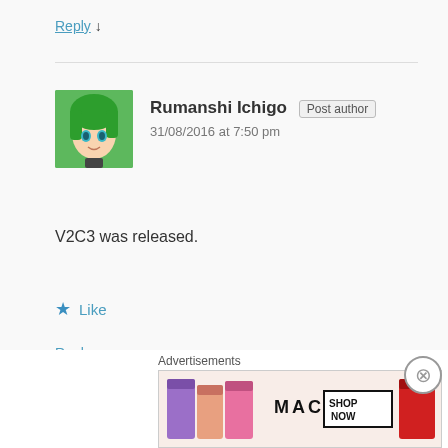Reply ↓
Rumanshi Ichigo  Post author
31/08/2016 at 7:50 pm
V2C3 was released.
★ Like
Reply ↓
Amirul Hakimi
[Figure (screenshot): MAC cosmetics advertisement showing lipsticks with SHOP NOW button]
Advertisements